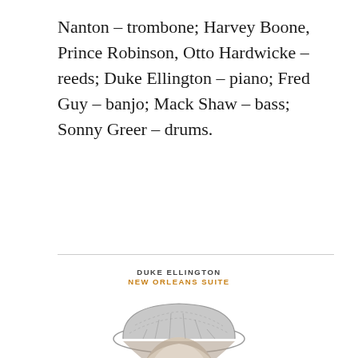Nanton – trombone; Harvey Boone, Prince Robinson, Otto Hardwicke – reeds; Duke Ellington – piano; Fred Guy – banjo; Mack Shaw – bass; Sonny Greer – drums.
[Figure (illustration): Album cover for Duke Ellington – New Orleans Suite, featuring a pencil sketch portrait of Duke Ellington wearing a wide-brimmed hat, rendered in grey tones on white background. Text above reads 'DUKE ELLINGTON' in black and 'NEW ORLEANS SUITE' in orange/gold.]